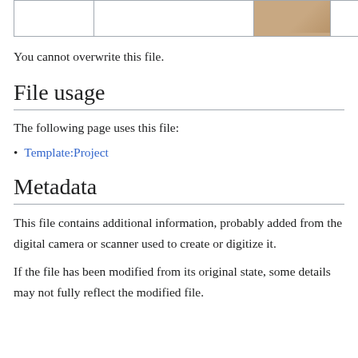|  |  | [image] |  |
You cannot overwrite this file.
File usage
The following page uses this file:
Template:Project
Metadata
This file contains additional information, probably added from the digital camera or scanner used to create or digitize it.
If the file has been modified from its original state, some details may not fully reflect the modified file.